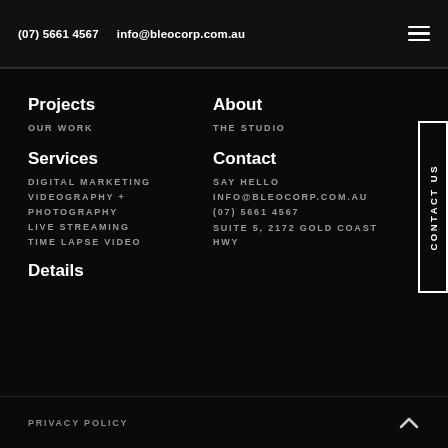(07) 5661 4567   info@bleocorp.com.au
Projects
OUR WORK
About
THE STUDIO
Services
DIGITAL MARKETING
VIDEOGRAPHY +
PHOTOGRAPHY
LIVE STREAMING
TIME LAPSE VIDEO
Contact
SAY HELLO
INFO@BLEOCORP.COM.AU
(07) 5661 4567
SUITE 5, 2172 GOLD COAST HWY
Details
PRIVACY POLICY